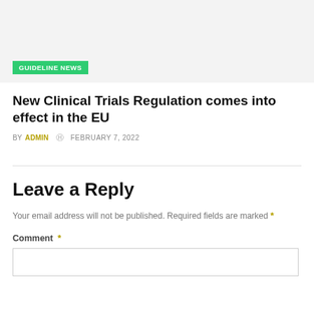[Figure (other): Light gray rectangular image placeholder area with a green badge labeled GUIDELINE NEWS at the bottom left.]
New Clinical Trials Regulation comes into effect in the EU
BY ADMIN  © FEBRUARY 7, 2022
Leave a Reply
Your email address will not be published. Required fields are marked *
Comment *